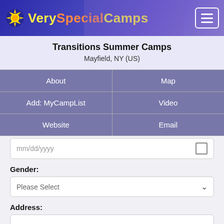VerySpecialCamps
Transitions Summer Camps
Mayfield, NY (US)
| About | Map |
| Add: MyCampList | Video |
| Website | Email |
mm/dd/yyyy
Gender:
Please Select
Address:
City:
State: